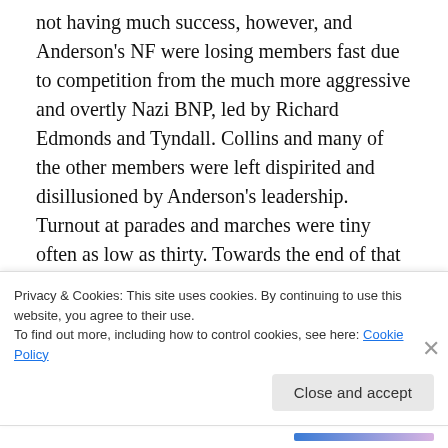not having much success, however, and Anderson's NF were losing members fast due to competition from the much more aggressive and overtly Nazi BNP, led by Richard Edmonds and Tyndall. Collins and many of the other members were left dispirited and disillusioned by Anderson's leadership. Turnout at parades and marches were tiny often as low as thirty. Towards the end of that section of the NF, they were reaching as low as perhaps ten or twelve. Anderson himself also seemed to regard the NF as a business, to provide him with a personal income,
Privacy & Cookies: This site uses cookies. By continuing to use this website, you agree to their use.
To find out more, including how to control cookies, see here: Cookie Policy
Close and accept